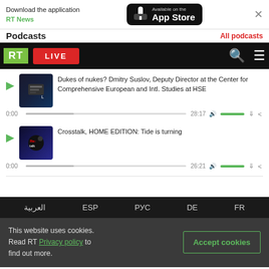[Figure (screenshot): App Store banner with Download the application RT News text and Available on the App Store button]
Podcasts
All podcasts
[Figure (screenshot): RT navigation bar with logo, LIVE button, search and menu icons]
[Figure (screenshot): Podcast player item: Dukes of nukes? Dmitry Suslov, Deputy Director at the Center for Comprehensive European and Intl. Studies at HSE]
Dukes of nukes? Dmitry Suslov, Deputy Director at the Center for Comprehensive European and Intl. Studies at HSE
0:00    28:17
[Figure (screenshot): Podcast player item: Crosstalk, HOME EDITION: Tide is turning]
Crosstalk, HOME EDITION: Tide is turning
0:00    26:21
العربية   ESP   РУС   DE   FR
This website uses cookies. Read RT Privacy policy to find out more.